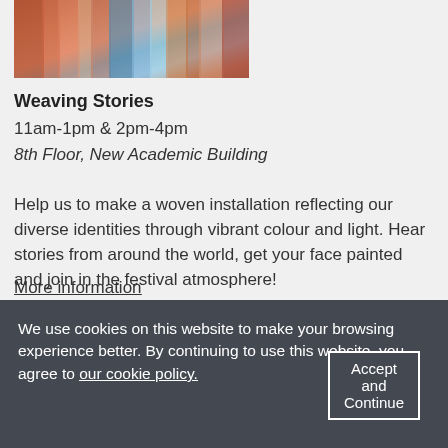[Figure (photo): Partial view of colorful woven threads or yarn in vibrant colors including orange, pink, blue, teal]
Weaving Stories
11am-1pm & 2pm-4pm
8th Floor, New Academic Building
Help us to make a woven installation reflecting our diverse identities through vibrant colour and light. Hear stories from around the world, get your face painted and join in the festival atmosphere!
More information
We use cookies on this website to make your browsing experience better. By continuing to use this website, you agree to our cookie policy.
Accept and Continue